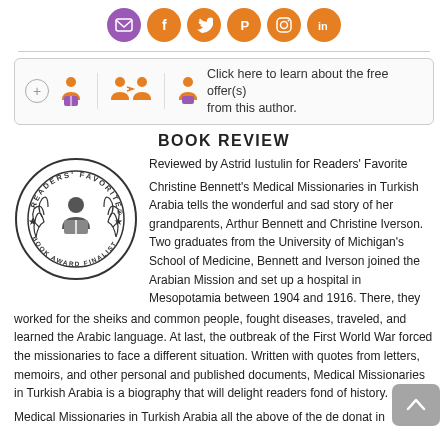[Figure (infographic): Row of six circular social media icons: email (purple), Facebook, Twitter, Pinterest, Instagram, LinkedIn (all orange)]
[Figure (infographic): Offer bar with plus button, reader/author icons, and text: Click here to learn about the free offer(s) from this author.]
BOOK REVIEW
Reviewed by Astrid Iustulin for Readers' Favorite
[Figure (logo): Readers' Favorite Book Award Finalist circular badge/seal in black and white]
Christine Bennett's Medical Missionaries in Turkish Arabia tells the wonderful and sad story of her grandparents, Arthur Bennett and Christine Iverson. Two graduates from the University of Michigan's School of Medicine, Bennett and Iverson joined the Arabian Mission and set up a hospital in Mesopotamia between 1904 and 1916. There, they worked for the sheiks and common people, fought diseases, traveled, and learned the Arabic language. At last, the outbreak of the First World War forced the missionaries to face a different situation. Written with quotes from letters, memoirs, and other personal and published documents, Medical Missionaries in Turkish Arabia is a biography that will delight readers fond of history.
Medical Missionaries in Turkish Arabia all the above of the de donat in